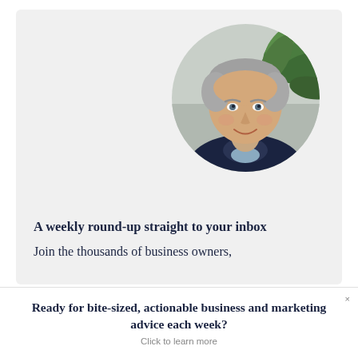[Figure (photo): Circular cropped photo of a middle-aged man with grey hair wearing a dark sweater, smiling, with a green plant in the background and soft natural light]
A weekly round-up straight to your inbox
Join the thousands of business owners,
Ready for bite-sized, actionable business and marketing advice each week?
Click to learn more